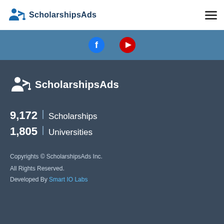ScholarshipsAds
[Figure (logo): ScholarshipsAds logo with graduation figure icon and text in footer section]
9,172  Scholarships
1,805  Universities
Copyrights © ScholarshipsAds Inc.
All Rights Reserved.
Developed By Smart IO Labs